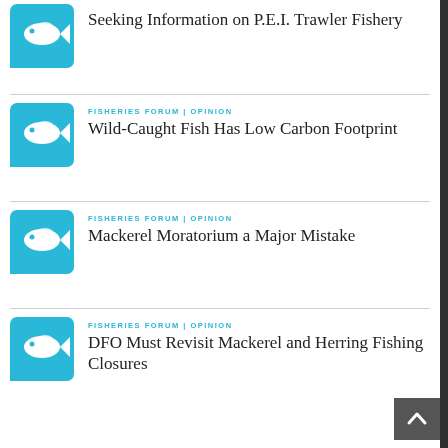Seeking Information on P.E.I. Trawler Fishery
FISHERIES FORUM | OPINION — Wild-Caught Fish Has Low Carbon Footprint
FISHERIES FORUM | OPINION — Mackerel Moratorium a Major Mistake
FISHERIES FORUM | OPINION — DFO Must Revisit Mackerel and Herring Fishing Closures